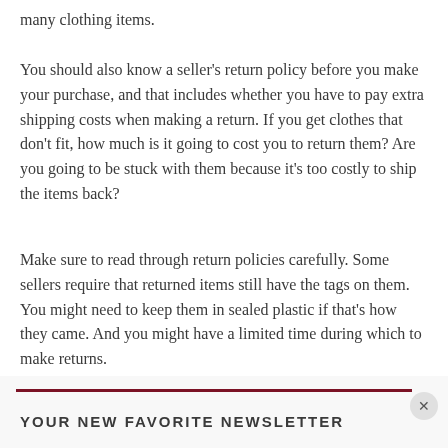many clothing items.
You should also know a seller's return policy before you make your purchase, and that includes whether you have to pay extra shipping costs when making a return. If you get clothes that don't fit, how much is it going to cost you to return them? Are you going to be stuck with them because it's too costly to ship the items back?
Make sure to read through return policies carefully. Some sellers require that returned items still have the tags on them. You might need to keep them in sealed plastic if that's how they came. And you might have a limited time during which to make returns.
YOUR NEW FAVORITE NEWSLETTER